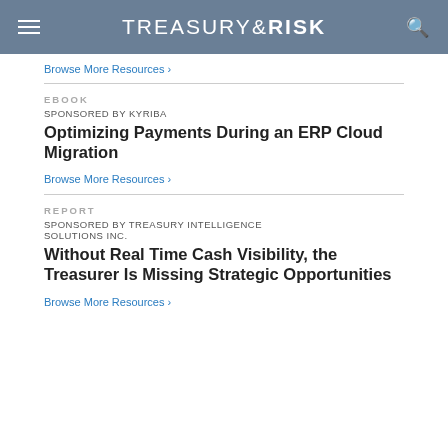TREASURY & RISK
Browse More Resources ›
EBOOK
SPONSORED BY KYRIBA
Optimizing Payments During an ERP Cloud Migration
Browse More Resources ›
REPORT
SPONSORED BY TREASURY INTELLIGENCE SOLUTIONS INC.
Without Real Time Cash Visibility, the Treasurer Is Missing Strategic Opportunities
Browse More Resources ›